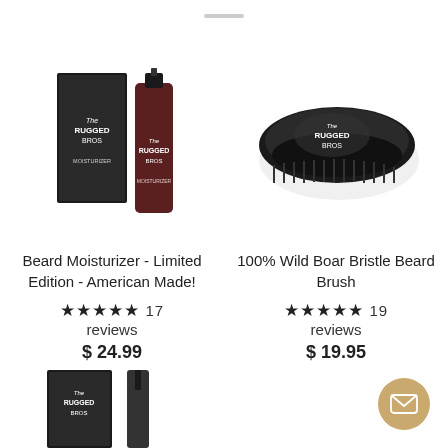[Figure (photo): Beard Moisturizer product - box and bottle by The Rugged Bros]
[Figure (photo): 100% Wild Boar Bristle Beard Brush by The Rugged Bros - black oval brush]
Beard Moisturizer - Limited Edition - American Made!
★★★★★ 17 reviews
$ 24.99
100% Wild Boar Bristle Beard Brush
★★★★★ 19 reviews
$ 19.95
[Figure (photo): Partial view of another Rugged Bros product at bottom of page]